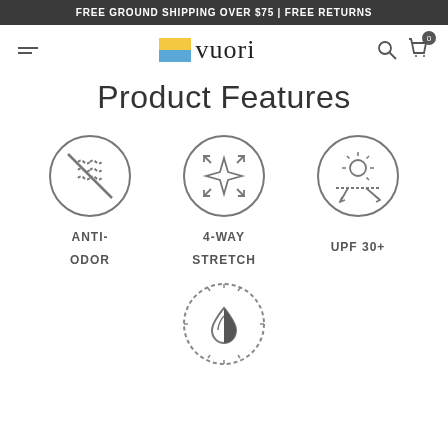FREE GROUND SHIPPING OVER $75 | FREE RETURNS
[Figure (logo): Vuori logo with colorful square icon and wordmark]
Product Features
[Figure (infographic): Three product feature icons: Anti-Odor (circle with crossed-out wavy lines), 4-Way Stretch (circle with four-pointed star and arrows), UPF 30+ (circle with sun and UV protection arrows)]
[Figure (infographic): Fourth product feature icon: moisture-wicking/water-resistant circle icon with water drop]